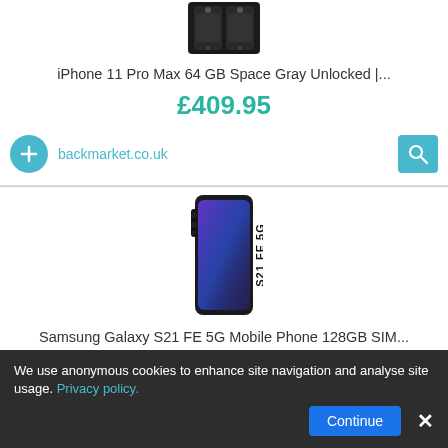[Figure (photo): iPhone 11 Pro Max product image – dark/black phone]
iPhone 11 Pro Max 64 GB Space Gray Unlocked |...
£409.95
backmarket.co.uk
[Figure (photo): Samsung Galaxy S21 FE 5G product image – dark colored smartphone]
Samsung Galaxy S21 FE 5G Mobile Phone 128GB SIM...
£499.00
Amazon
We use anonymous cookies to enhance site navigation and analyse site usage. Privacy policy.